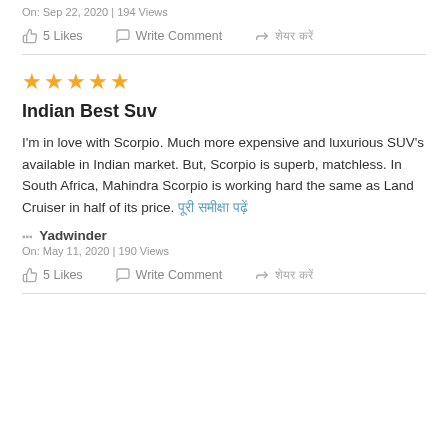On: Sep 22, 2020 | 194 Views
5 Likes   Write Comment   [Hindi text]
★★★★★
Indian Best Suv
I'm in love with Scorpio. Much more expensive and luxurious SUV's available in Indian market. But, Scorpio is superb, matchless. In South Africa, Mahindra Scorpio is working hard the same as Land Cruiser in half of its price. [Hindi link text]
⠀⠀⠀ Yadwinder
On: May 11, 2020 | 190 Views
5 Likes   Write Comment   [Hindi text]